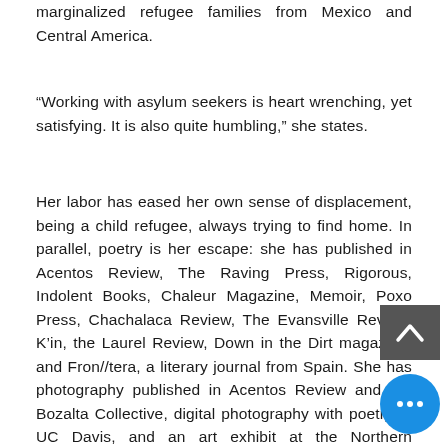marginalized refugee families from Mexico and Central America.
“Working with asylum seekers is heart wrenching, yet satisfying. It is also quite humbling,” she states.
Her labor has eased her own sense of displacement, being a child refugee, always trying to find home. In parallel, poetry is her escape: she has published in Acentos Review, The Raving Press, Rigorous, Indolent Books, Chaleur Magazine, Memoir, Poxo Press, Chachalaca Review, The Evansville Review, K’in, the Laurel Review, Down in the Dirt magazine, and Fron//tera, a literary journal from Spain. She has photography published in Acentos Review and the Bozalta Collective, digital photography with poetry at UC Davis, and an art exhibit at the Northern Manhattan Coalition for Immigrant Rights (NMCIR), which included her sonnets and photography. Finally, her poetry will be featured in Cosmographia Books in July 2019, Black Mountain Press/The Halcyone, and Detained Natu/Nara…